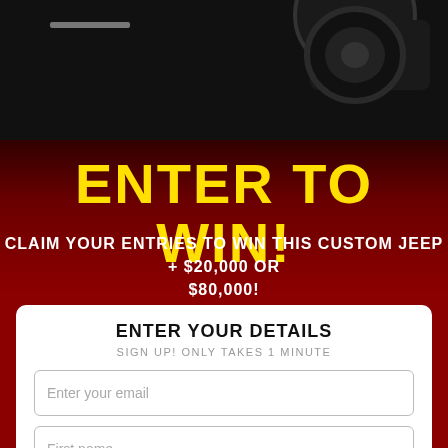[Figure (photo): Top portion of a custom Jeep vehicle on dark/black background, partially cropped]
ENTER TO WIN!
CLAIM YOUR ENTRIES TO WIN THIS CUSTOM JEEP + $20,000 OR $80,000!
ENTER YOUR DETAILS
SIGN UP! ONLY TAKES 1 MINUTE
Enter your email
First name
Last name (partial)